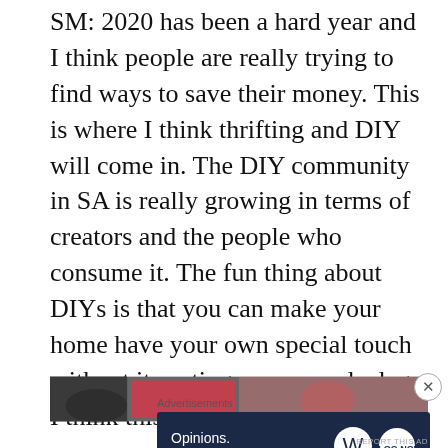SM: 2020 has been a hard year and I think people are really trying to find ways to save their money. This is where I think thrifting and DIY will come in. The DIY community in SA is really growing in terms of creators and the people who consume it. The fun thing about DIYs is that you can make your home have your own special touch without it costing an arm and a leg. I think this is something people are more open to this year.
[Figure (photo): Partial image strip showing two photos side by side, partially cropped at the bottom of the page]
Advertisements
[Figure (other): Advertisement banner with dark navy background reading 'Opinions. We all have them!' with WordPress logo and another logo on the right]